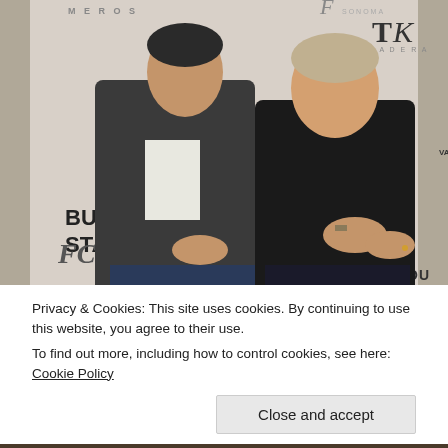[Figure (photo): Two men standing in front of a sponsor step-and-repeat backdrop with wine brand logos. The man on the left wears a dark blazer over a white shirt, the man on the right wears an all-black outfit. Logos visible include BUTTER, STATU, VAVASOU, TK, F SONOMA, and others.]
Privacy & Cookies: This site uses cookies. By continuing to use this website, you agree to their use.
To find out more, including how to control cookies, see here: Cookie Policy
[Figure (photo): Partial view of another photo at the bottom of the page, showing a dark brownish scene.]